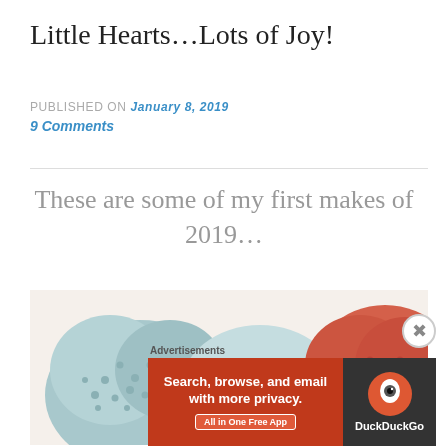Little Hearts…Lots of Joy!
PUBLISHED ON January 8, 2019
9 Comments
These are some of my first makes of 2019…
[Figure (photo): Close-up photo of crocheted heart-shaped items in light blue and coral/orange colors on a white background]
Advertisements
[Figure (screenshot): DuckDuckGo advertisement banner: 'Search, browse, and email with more privacy. All in One Free App' with DuckDuckGo logo on dark background]